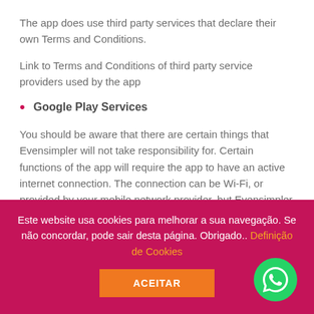The app does use third party services that declare their own Terms and Conditions.
Link to Terms and Conditions of third party service providers used by the app
Google Play Services
You should be aware that there are certain things that Evensimpler will not take responsibility for. Certain functions of the app will require the app to have an active internet connection. The connection can be Wi-Fi, or provided by your mobile network provider, but Evensimpler cannot take responsibility for the app
Este website usa cookies para melhorar a sua navegação. Se não concordar, pode sair desta página. Obrigado.. Definição de Cookies
ACEITAR